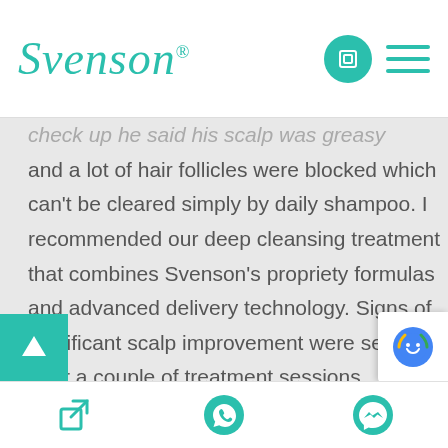Svenson® [logo with navigation icons]
...and a lot of hair follicles were blocked which can't be cleared simply by daily shampoo. I recommended our deep cleansing treatment that combines Svenson's propriety formulas and advanced delivery technology. Signs of significant scalp improvement were seen after a couple of treatment sessions. Encouraged by the noticeable results, the client asked about Svenson's further treatment programmes for stronger and denser hair. I am always motivated and content to see that my clients have gained visible results!"
Footer with contact icons: edit/form, WhatsApp, Messenger